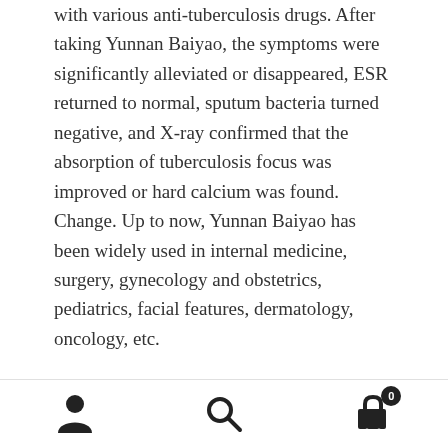with various anti-tuberculosis drugs. After taking Yunnan Baiyao, the symptoms were significantly alleviated or disappeared, ESR returned to normal, sputum bacteria turned negative, and X-ray confirmed that the absorption of tuberculosis focus was improved or hard calcium was found. Change. Up to now, Yunnan Baiyao has been widely used in internal medicine, surgery, gynecology and obstetrics, pediatrics, facial features, dermatology, oncology, etc.
There are 113 kinds of diseases treated. According to incomplete statistics, there are 187 articles about Yunnan Baiyao, which are scattered in 88 medical journals and medical books. The study of Yunnan Baiyao has also been paid great attention in the world. The American Institute
Navigation footer with user, search, and cart icons